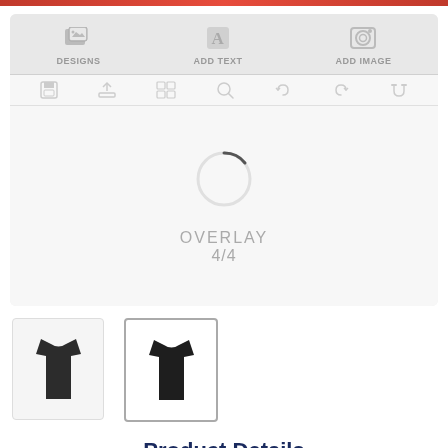[Figure (screenshot): Web-based custom t-shirt designer interface showing toolbar with DESIGNS, ADD TEXT, ADD IMAGE buttons, secondary toolbar with save/upload/zoom/magnet icons, a loading spinner overlay showing OVERLAY 4/4 text, and two dark t-shirt thumbnail previews below.]
Product Details
Flexfit Adult Premium 210 Fitted® Cap hat